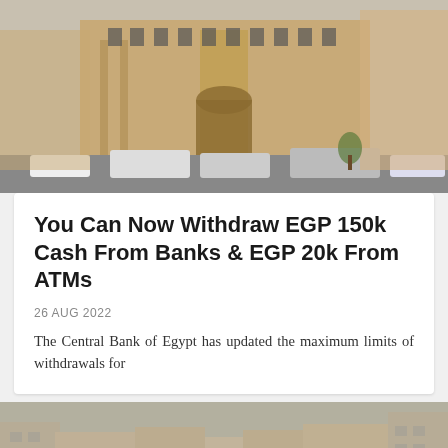[Figure (photo): Exterior of the Central Bank of Egypt building, a large stone corner building with cars and buses on the street below]
You Can Now Withdraw EGP 150k Cash From Banks & EGP 20k From ATMs
26 AUG 2022
The Central Bank of Egypt has updated the maximum limits of withdrawals for
[Figure (photo): Aerial view of a dense Cairo street scene with tall apartment buildings and heavy traffic]